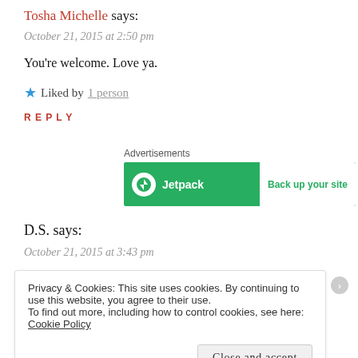Tosha Michelle says:
October 21, 2015 at 2:50 pm
You're welcome. Love ya.
★ Liked by 1 person
REPLY
Advertisements
[Figure (illustration): Jetpack advertisement banner: green background with Jetpack logo on left and 'Back up your site' text on right white panel]
D.S. says:
October 21, 2015 at 3:43 pm
Privacy & Cookies: This site uses cookies. By continuing to use this website, you agree to their use. To find out more, including how to control cookies, see here: Cookie Policy